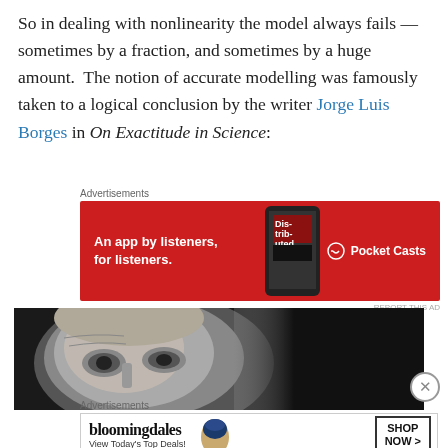So in dealing with nonlinearity the model always fails — sometimes by a fraction, and sometimes by a huge amount.  The notion of accurate modelling was famously taken to a logical conclusion by the writer Jorge Luis Borges in On Exactitude in Science:
[Figure (other): Pocket Casts advertisement banner: red background with text 'An app by listeners, for listeners.' and Pocket Casts logo on the right, with a phone image in the middle.]
[Figure (photo): Black and white close-up photograph of an elderly man's face, showing eyes and upper face, partially cropped.]
[Figure (other): Bloomingdale's advertisement banner: white background with Bloomingdale's logo, 'View Today's Top Deals!' text, woman in hat image, and 'SHOP NOW >' button.]